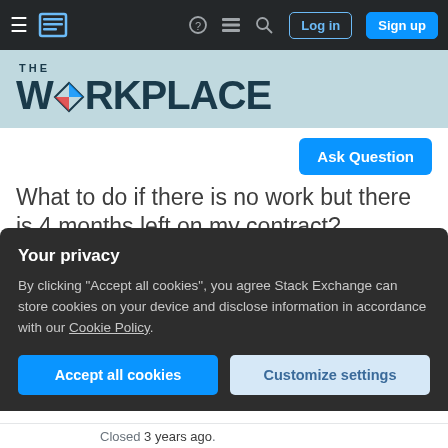Stack Exchange navigation bar with Log in and Sign up buttons
[Figure (logo): The Workplace Stack Exchange logo — 'THE WORKPLACE' in dark teal with a diamond/rhombus icon containing red and blue triangles]
Ask Question
What to do if there is no work but there is 4 months left on my contract? [duplicate]
Asked 3 years, 7 months ago   Modified 3 years, 7 months ago
Viewed 465 times
Your privacy
By clicking "Accept all cookies", you agree Stack Exchange can store cookies on your device and disclose information in accordance with our Cookie Policy.
Accept all cookies   Customize settings
Closed 3 years ago.